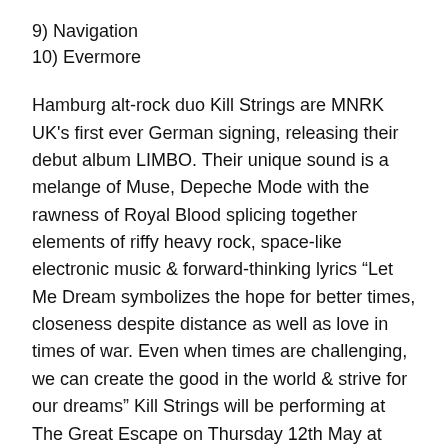9) Navigation
10) Evermore
Hamburg alt-rock duo Kill Strings are MNRK UK's first ever German signing, releasing their debut album LIMBO. Their unique sound is a melange of Muse, Depeche Mode with the rawness of Royal Blood splicing together elements of riffy heavy rock, space-like electronic music & forward-thinking lyrics “Let Me Dream symbolizes the hope for better times, closeness despite distance as well as love in times of war. Even when times are challenging, we can create the good in the world & strive for our dreams” Kill Strings will be performing at The Great Escape on Thursday 12th May at Club Revenge & Reeperbahn Festival in Hamburg in September. -Officially Licensed Kill Strings Merchandise Please Note, this item is PRE-ORDER ITEM! *Any orders containing a "Pre-Order" item will ship together when the pre-order ships. Please make a separate order if you wish to receive non pre-order items before the pre-order